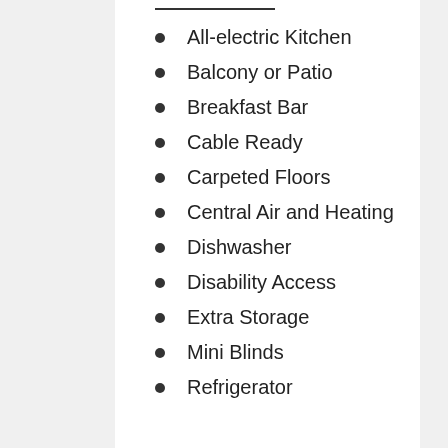All-electric Kitchen
Balcony or Patio
Breakfast Bar
Cable Ready
Carpeted Floors
Central Air and Heating
Dishwasher
Disability Access
Extra Storage
Mini Blinds
Refrigerator